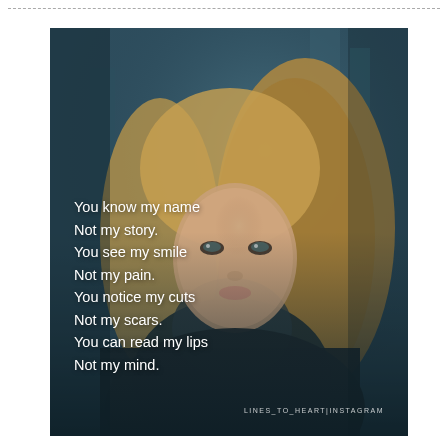[Figure (photo): A young woman with long blonde wavy hair looking directly at the camera, wearing a dark jacket, against a blurred dark teal/blue urban background. The image has a dark, moody atmosphere. Overlaid on the lower portion of the image is a white text quote about being misunderstood.]
You know my name
Not my story.
You see my smile
Not my pain.
You notice my cuts
Not my scars.
You can read my lips
Not my mind.
LINES_TO_HEART|INSTAGRAM